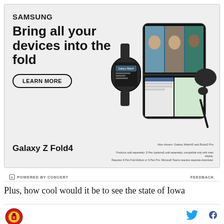[Figure (advertisement): Samsung Galaxy Z Fold4 advertisement showing 'Bring all your devices into the fold' with images of a smartwatch, folded phone with video call, earbuds, and stylus pen. Includes LEARN MORE button and product name Galaxy Z Fold4.]
POWERED BY CONCERT    FEEDBACK
Plus, how cool would it be to see the state of Iowa
[Figure (logo): Circular red and gold site logo with trophy/shield emblem]
[Figure (logo): Twitter bird icon in blue]
[Figure (logo): Facebook f icon in dark blue]